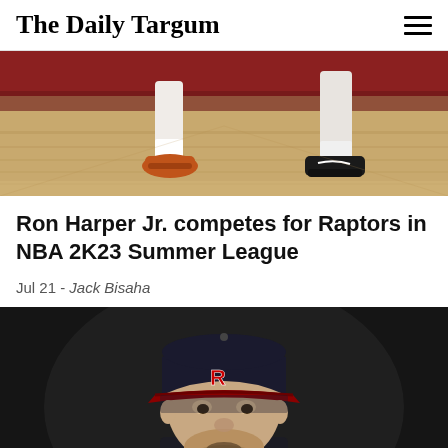The Daily Targum
[Figure (photo): Close-up photo of basketball players' feet and sneakers on a hardwood court with red accents]
Ron Harper Jr. competes for Raptors in NBA 2K23 Summer League
Jul 21 - Jack Bisaha
[Figure (photo): Portrait photo of a baseball player wearing a Rutgers R cap and dark jersey, looking downward, dark background]